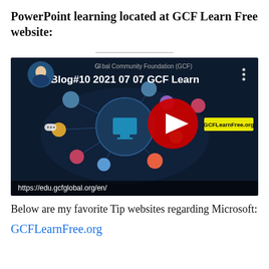PowerPoint learning located at GCF Learn Free website:
[Figure (screenshot): YouTube video thumbnail showing 'Blog#10 2021 07 07 GCF Learn' with a dark background, network of avatar icons connected on a world map, a red YouTube play button in the center, 'GCFLearnFree.org' label in yellow, and URL https://edu.gcfglobal.org/en/ at the bottom. Top left shows 'Global Community Foundation (GCF)' text and a speaker photo.]
Below are my favorite Tip websites regarding Microsoft:
GCFLearnFree.org